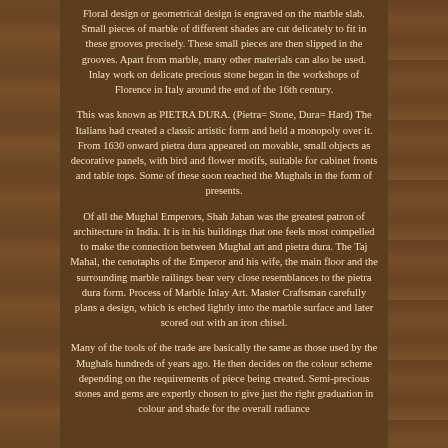Floral design or geometrical design is engraved on the marble slab. Small pieces of marble of different shades are cut delicately to fit in these grooves precisely. These small pieces are then slipped in the grooves. Apart from marble, many other materials can also be used. Inlay work on delicate precious stone began in the workshops of Florence in Italy around the end of the 16th century.
This was known as PIETRA DURA. (Pietra= Stone, Dura= Hard) The Italians had created a classic artistic form and held a monopoly over it. From 1630 onward pietra dura appeared on movable, small objects as decorative panels, with bird and flower motifs, suitable for cabinet fronts and table tops. Some of these soon reached the Mughals in the form of presents.
Of all the Mughal Emperors, Shah Jahan was the greatest patron of architecture in India. It is in his buildings that one feels most compelled to make the connection between Mughal art and pietra dura. The Taj Mahal, the cenotaphs of the Emperor and his wife, the main floor and the surrounding marble railings bear very close resemblances to the pietra dura form. Process of Marble Inlay Art. Master Craftsman carefully plans a design, which is etched lightly into the marble surface and later scored out with an iron chisel.
Many of the tools of the trade are basically the same as those used by the Mughals hundreds of years ago. He then decides on the colour scheme depending on the requirements of piece being created. Semi-precious stones and gems are expertly chosen to give just the right graduation in colour and shade for the overall radiance